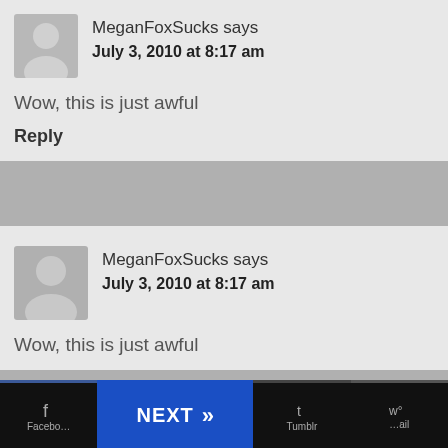MeganFoxSucks says
July 3, 2010 at 8:17 am
Wow, this is just awful
Reply
MeganFoxSucks says
July 3, 2010 at 8:17 am
Wow, this is just awful
Facebook   NEXT >>   Tumblr   Wordswag